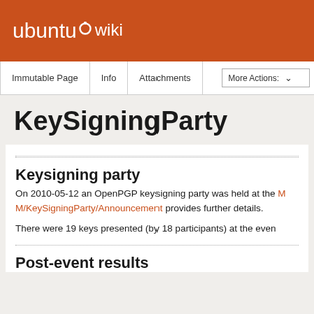ubuntu wiki
Immutable Page | Info | Attachments | More Actions:
KeySigningParty
Keysigning party
On 2010-05-12 an OpenPGP keysigning party was held at the M/KeySigningParty/Announcement provides further details.
There were 19 keys presented (by 18 participants) at the even
Post-event results